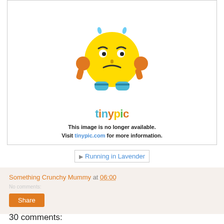[Figure (illustration): Tinypic 'image no longer available' placeholder showing a sad yellow emoji face with orange hands, blue shoes, and the tinypic logo below it, with text: 'This image is no longer available. Visit tinypic.com for more information.']
Running in Lavender
Something Crunchy Mummy at 06:00
Share
30 comments: